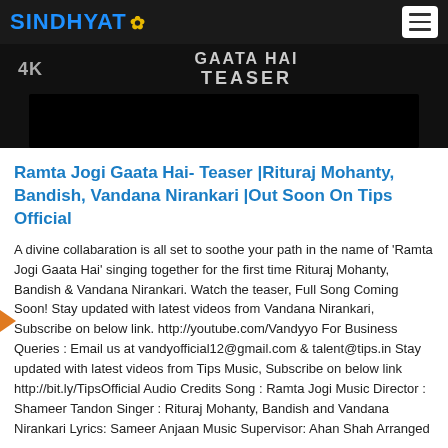SINDHYAT
[Figure (screenshot): Video thumbnail showing '4K' label and 'GAATA HAI TEASER' text on dark background with a black video bar]
Ramta Jogi Gaata Hai- Teaser |Rituraj Mohanty, Bandish, Vandana Nirankari |Out Soon On Tips Official
A divine collabaration is all set to soothe your path in the name of 'Ramta Jogi Gaata Hai' singing together for the first time Rituraj Mohanty, Bandish & Vandana Nirankari. Watch the teaser, Full Song Coming Soon! Stay updated with latest videos from Vandana Nirankari, Subscribe on below link. http://youtube.com/Vandyyo For Business Queries : Email us at vandyofficial12@gmail.com & talent@tips.in Stay updated with latest videos from Tips Music, Subscribe on below link http://bit.ly/TipsOfficial Audio Credits Song : Ramta Jogi Music Director : Shameer Tandon Singer : Rituraj Mohanty, Bandish and Vandana Nirankari Lyrics: Sameer Anjaan Music Supervisor: Ahan Shah Arranged and Programmed by: Som Riggs Guitars, Bass and Strokes: Shon Pinto Dotara: Rajkumar Sengupta Mixed